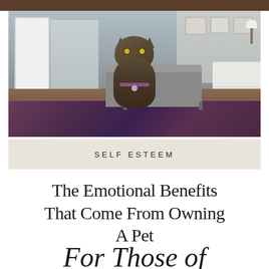[Figure (photo): A long-haired tabby cat sitting on a floral rug inside a living room, facing the camera. Behind the cat is a grey bench/ottoman, framed pictures on the wall, a white couch on the right, and a door on the left.]
SELF ESTEEM
The Emotional Benefits That Come From Owning A Pet
For Those of